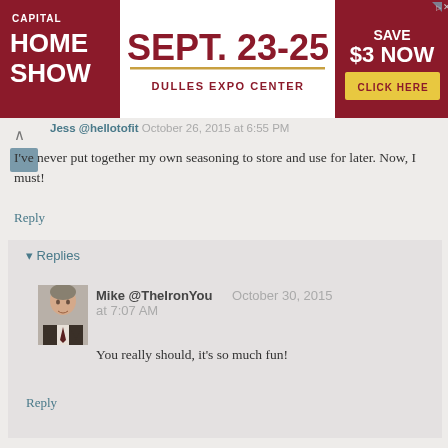[Figure (infographic): Capital Home Show advertisement banner. Red background. Text: CAPITAL HOME SHOW | SEPT. 23-25 | DULLES EXPO CENTER | SAVE $3 NOW | CLICK HERE button]
Jess @hellotofit October 26, 2015 at 6:55 PM
I've never put together my own seasoning to store and use for later. Now, I must!
Reply
Replies
Mike @TheIronYou   October 30, 2015 at 7:07 AM
You really should, it's so much fun!
Reply